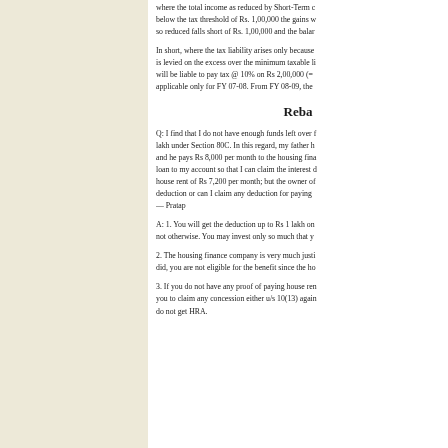where the total income as reduced by Short-Term capital gains falls below the tax threshold of Rs. 1,00,000 the gains will be taxed only if so reduced falls short of Rs. 1,00,000 and the balance...
In short, where the tax liability arises only because of STCG, the tax is levied on the excess over the minimum taxable limit. Someone will be liable to pay tax @ 10% on Rs 2,00,000 (= ...). This is applicable only for FY 07-08. From FY 08-09, the ...
Reba
Q: I find that I do not have enough funds left over ... lakh under Section 80C. In this regard, my father h... and he pays Rs 8,000 per month to the housing fina... loan to my account so that I can claim the interest ... house rent of Rs 7,200 per month; but the owner o... deduction or can I claim any deduction for paying ... — Pratap
A: 1. You will get the deduction up to Rs 1 lakh o... not otherwise. You may invest only so much that y...
2. The housing finance company is very much justi... did, you are not eligible for the benefit since the ho...
3. If you do not have any proof of paying house re... you to claim any concession either u/s 10(13) again... do not get HRA.